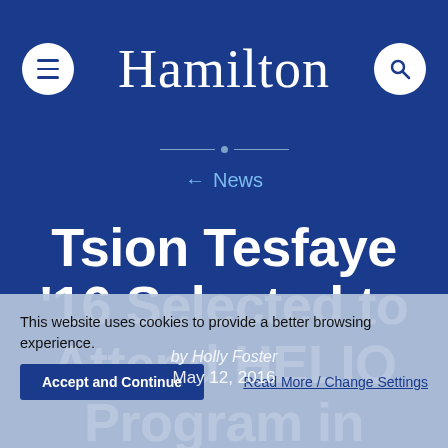Hamilton
← News
Tsion Tesfaye '16 Selected to Attend HELIO Program in Japan
This website uses cookies to provide a better browsing experience.
Accept and Continue    Read More / Change Settings
by Holly Foster
May 12, 2016